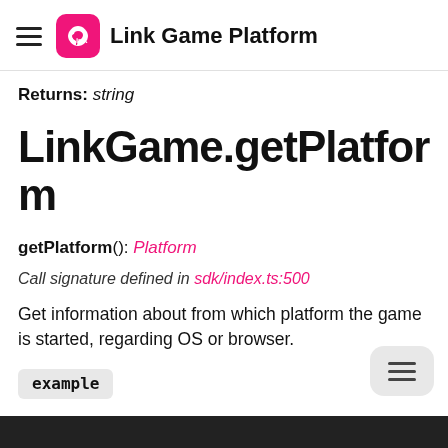Link Game Platform
Returns: string
LinkGame.getPlatform
getPlatform(): Platform
Call signature defined in sdk/index.ts:500
Get information about from which platform the game is started, regarding OS or browser.
example